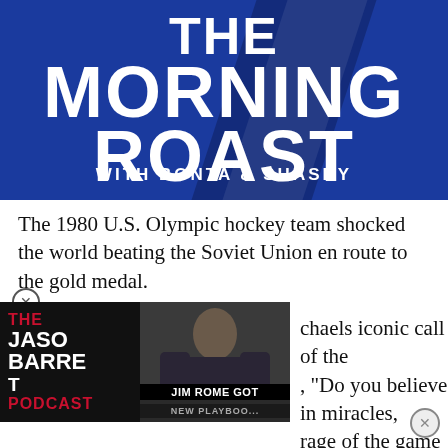[Figure (logo): The Morning Roast with Bonta & Shasky banner logo on dark blue background with diagonal stripe elements]
The 1980 U.S. Olympic hockey team shocked the world beating the Soviet Union en route to the gold medal.
[Figure (screenshot): The Jason Barrett Podcast advertisement overlay with photo of Jim Rome and text JIM ROME GOT NEW PLAYBO...]
chaels iconic call of the , "Do you believe in miracles, rage of the game aired that he nation, broadcaster Joe